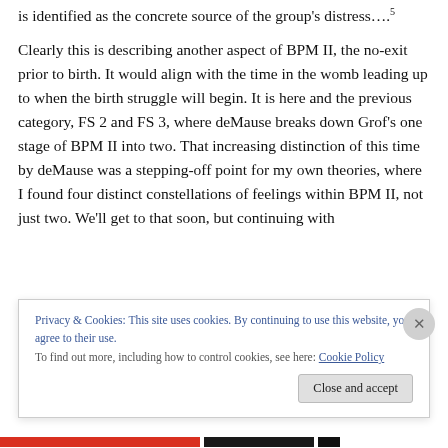is identified as the concrete source of the group's distress….5
Clearly this is describing another aspect of BPM II, the no-exit prior to birth. It would align with the time in the womb leading up to when the birth struggle will begin. It is here and the previous category, FS 2 and FS 3, where deMause breaks down Grof's one stage of BPM II into two. That increasing distinction of this time by deMause was a stepping-off point for my own theories, where I found four distinct constellations of feelings within BPM II, not just two. We'll get to that soon, but continuing with
Privacy & Cookies: This site uses cookies. By continuing to use this website, you agree to their use.
To find out more, including how to control cookies, see here: Cookie Policy